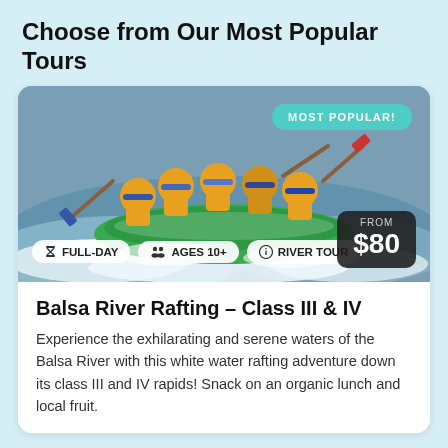Choose from Our Most Popular Tours
[Figure (photo): Group of people white water rafting on a green raft through rapids, wearing yellow life vests and helmets. Overlaid badges show: MOST POPULAR!, FULL-DAY, AGES 10+, RIVER TOUR, and a price box FROM $80.]
Balsa River Rafting – Class III & IV
Experience the exhilarating and serene waters of the Balsa River with this white water rafting adventure down its class III and IV rapids! Snack on an organic lunch and local fruit.